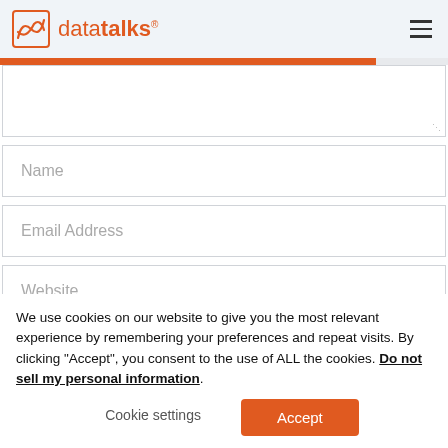datatalks®
[Figure (screenshot): Web form with textarea, Name field, Email Address field, and Website field, with an orange progress bar at top]
We use cookies on our website to give you the most relevant experience by remembering your preferences and repeat visits. By clicking "Accept", you consent to the use of ALL the cookies. Do not sell my personal information.
Cookie settings  Accept